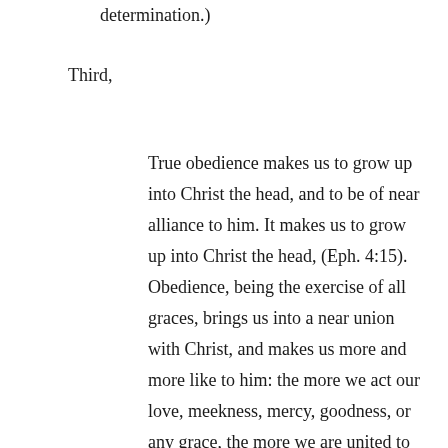determination.)
Third,
True obedience makes us to grow up into Christ the head, and to be of near alliance to him. It makes us to grow up into Christ the head, (Eph. 4:15). Obedience, being the exercise of all graces, brings us into a near union with Christ, and makes us more and more like to him: the more we act our love, meekness, mercy, goodness, or any grace, the more we are united to him and incorporated with him; nay, true obedience makes us to be of near